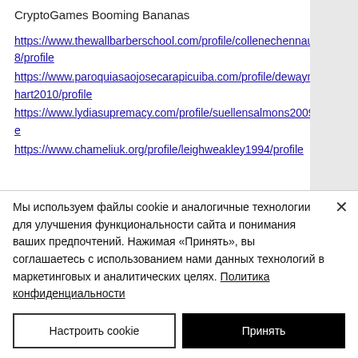Betcoin.ag Casino Phmonkeys CryptoGames Booming Bananas
https://www.thewallbarberschool.com/profile/collenechennault2008/profile
https://www.paroquiasaojosecarapicuiba.com/profile/dewaynelighthart2010/profile
https://www.lydiasupremacy.com/profile/suellensalmons2009/profile
https://www.chameliuk.org/profile/leighweakley1994/profile
Мы используем файлы cookie и аналогичные технологии для улучшения функциональности сайта и понимания ваших предпочтений. Нажимая «Принять», вы соглашаетесь с использованием нами данных технологий в маркетинговых и аналитических целях. Политика конфиденциальности